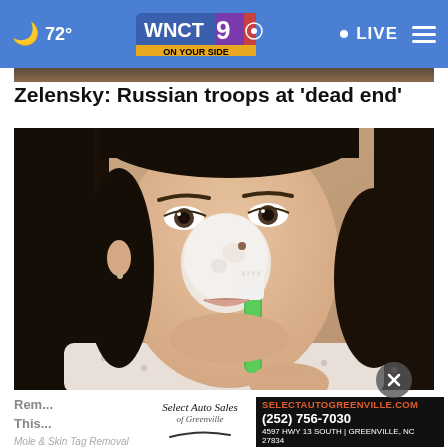72° WNCT 9 ON YOUR SIDE · LIVE
Zelensky: Russian troops at 'dead end'
[Figure (photo): Woman applying white cream/face mask to her nose with a toothbrush, close-up portrait, dark hair, wearing a patterned top]
Remove... This...
SELECTAUTOGREENVILLE.COM Select Auto Sales of Greenville (252) 756-7030 4597 HWY 13 SOUTH | GREENVILLE, NC 27834